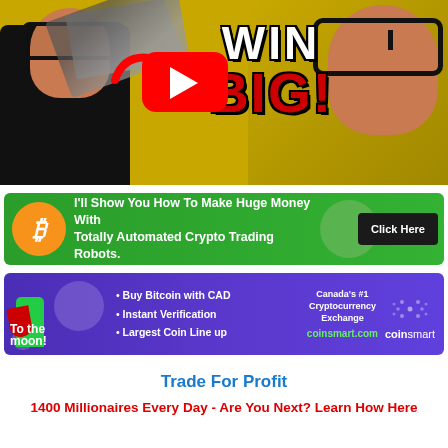[Figure (screenshot): YouTube video thumbnail showing a man holding cash on yellow background with 'WIN BIG!' text overlay and YouTube play button with red arrow]
[Figure (infographic): Green banner ad: Bitcoin logo icon on left, text 'I'll Show You How To Make Huge Money With Totally Automated Crypto Trading Robots.' with 'Click Here' button on right]
[Figure (infographic): Purple/blue banner ad for CoinSmart: 'To the moon!' on left, bullet points 'Buy Bitcoin with CAD, Instant Verification, Largest Coin Line up', Canada's #1 Cryptocurrency Exchange, coinsmart.com, CoinSmart logo on right]
Trade For Profit
1400 Millionaires Every Day - Are You Next? Learn How Here